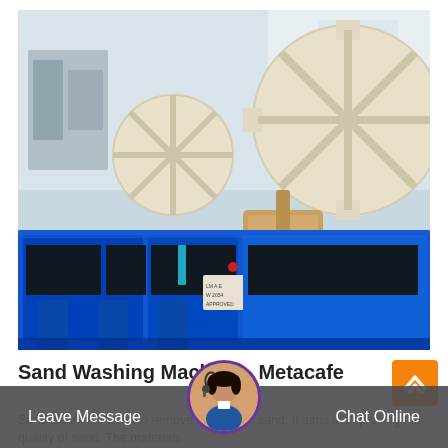[Figure (photo): Sand washing machine with blue metal trough/basin and large cream/white gear wheels with a cylindrical drum/roller mechanism, photographed in an industrial setting]
Sand Washing Machine - Metacafe
Sand washer is used to remove the dust in sand. It aims at improving the quality of sand. The materials
Leave Message
Chat Online